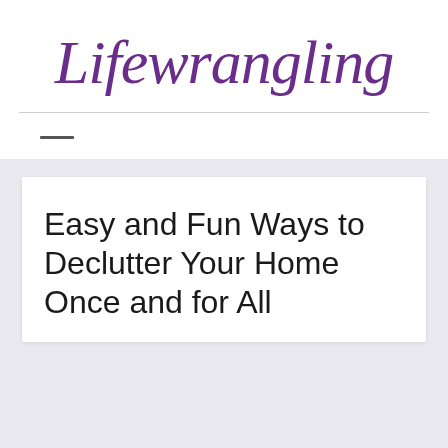Lifewrangling
Easy and Fun Ways to Declutter Your Home Once and for All